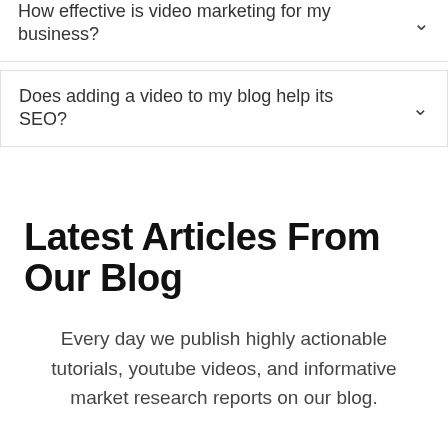How effective is video marketing for my business?
Does adding a video to my blog help its SEO?
Latest Articles From Our Blog
Every day we publish highly actionable tutorials, youtube videos, and informative market research reports on our blog.